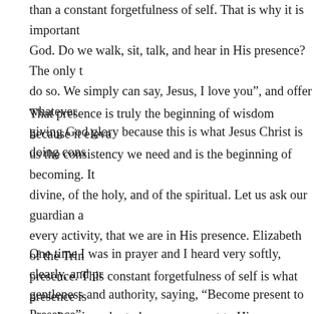than a constant forgetfulness of self. That is why it is important God. Do we walk, sit, talk, and hear in His presence? The only t do so. We simply can say, Jesus, I love you”, and offer whatever giving God glory because this is what Jesus Christ is doing cons
That presence is truly the beginning of wisdom because it eleva us the consistency we need and is the beginning of becoming. It divine, of the holy, and of the spiritual. Let us ask our guardian every activity, that we are in His presence. Elizabeth of the Trin presence. This constant forgetfulness of self is what presence is ourselves in order to become present to Him.
One time I was in prayer and I heard very softly, clearly, and pr gentleness and authority, saying, “Become present to Presence” have said before, the two elements or pillars of presence are si